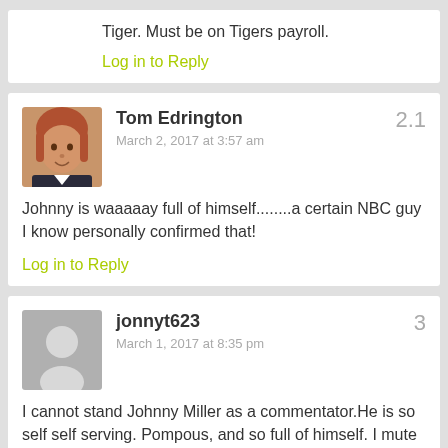Tiger. Must be on Tigers payroll.
Log in to Reply
Tom Edrington
March 2, 2017 at 3:57 am
2.1
Johnny is waaaaay full of himself........a certain NBC guy I know personally confirmed that!
Log in to Reply
jonnyt623
March 1, 2017 at 8:35 pm
3
I cannot stand Johnny Miller as a commentator.He is so self self serving. Pompous, and so full of himself. I mute the sound when he is on. I do not want